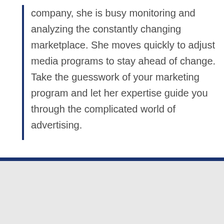company, she is busy monitoring and analyzing the constantly changing marketplace. She moves quickly to adjust media programs to stay ahead of change. Take the guesswork of your marketing program and let her expertise guide you through the complicated world of advertising.
[Figure (photo): Portrait photo of a woman with shoulder-length brown hair, smiling, wearing a striped shirt, against a dark background. Below a navy blue horizontal bar on a light gray background section.]